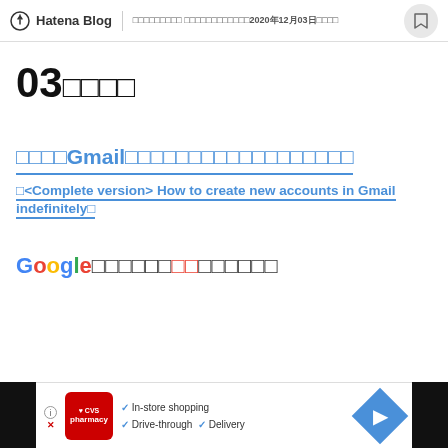Hatena Blog | □□□□□□□□□ □□□□□□□□□□□□2020年12月03日□□□□
03日目
□□□□□Gmail□□□□□□□□□□□□□□□□□□
□<Complete version> How to create new accounts in Gmail indefinitely□
Google□□□□□□□□□□□□□□
[Figure (screenshot): Advertisement bar with CVS Pharmacy logo, checkmarks for In-store shopping, Drive-through, and Delivery, and a blue navigation diamond icon]